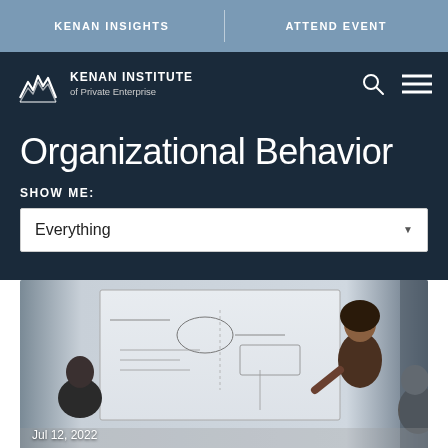KENAN INSIGHTS | ATTEND EVENT
[Figure (logo): Kenan Institute of Private Enterprise logo with mountain graphic]
Organizational Behavior
SHOW ME:
Everything
[Figure (photo): A woman presenting at a whiteboard to a small group, date Jul 12, 2022]